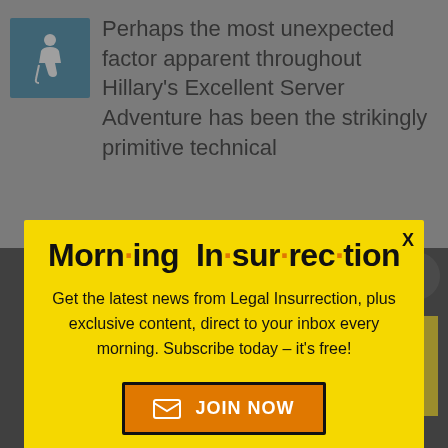[Figure (screenshot): Accessibility icon (wheelchair user) in teal/blue square]
Perhaps the most unexpected factor apparent throughout Hillary's Excellent Server Adventure has been the strikingly primitive technical
[Figure (infographic): Morning Insurrection newsletter signup modal popup with yellow background. Title reads 'Morn·ing In·sur·rec·tion' with orange dots. Body text: 'Get the latest news from Legal Insurrection, plus exclusive content, direct to your inbox every morning. Subscribe today – it's free!' with JOIN NOW button.]
[Figure (screenshot): Bottom of page showing dark background with 'am' text, close X button, Back to top link, and The Perspective advertisement banner reading 'SEE WHAT YOU'RE MISSING' with READ MORE button]